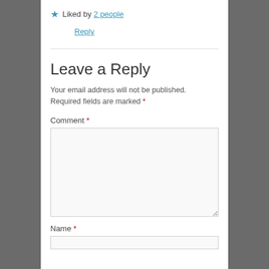★ Liked by 2 people
Reply
Leave a Reply
Your email address will not be published. Required fields are marked *
Comment *
Name *